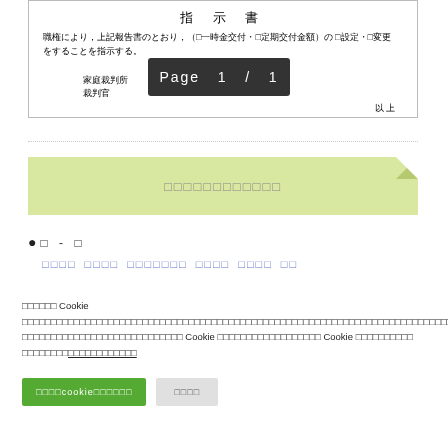指 示 書
職権により，上記報告書のとおり，（□一時金交付・□定期交付金額）の □設定・□変更をすることを指示する。
年 月 日
家庭裁判所
裁判官
以 上
Page 1 / 1
□□□□□□□□□□□□
□ - □
□□□□ □□□□ □□□□□□□ □□□□ □□□□ □□
□□□□□□ Cookie □□□□□□□□□□□□□□□□□□□□□□□□□□□□□□□□□□□□□□□□□□□□□□□□□□□□□□□□□□□□□□□□□□□□□□□□□□□ Cookie □□□□□□□□□□□□□□□□□□ Cookie □□□□□□□□□□□□□□□□□□□□
□□□□cookie□□□□□□
□□□□